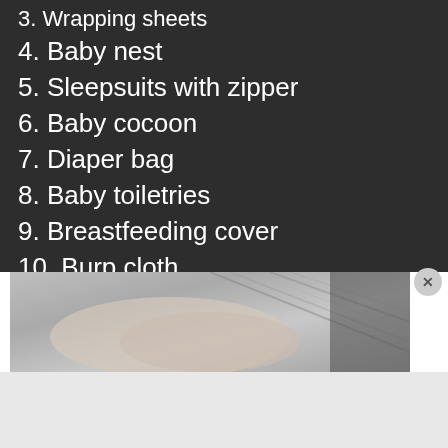3. Wrapping sheets
4. Baby nest
5. Sleepsuits with zipper
6. Baby cocoon
7. Diaper bag
8. Baby toiletries
9. Breastfeeding cover
10. Burp cloth
[Figure (photo): Black and white photo of a baby wrapped in cloth, close-up of hands and fabric with geometric pattern]
Advertisement
[Figure (screenshot): DuckDuckGo advertisement banner with orange background showing text: Search, browse, and email with more privacy. All in One Free App. Phone with DuckDuckGo logo shown on right.]